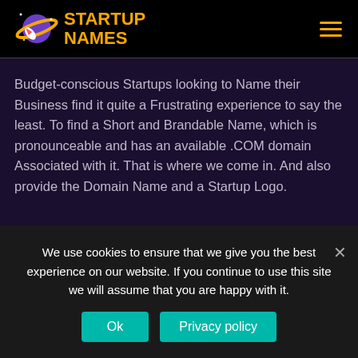[Figure (logo): Startup Names logo with planet/rocket icon and orange text]
Budget-conscious Startups looking to Name their Business find it quite a Frustrating experience to say the least. To find a Short and Brandable Name, which is pronounceable and has an available .COM domain Associated with it. That is where we come in. And also provide the Domain Name and a Startup Logo.
Quick Links
We use cookies to ensure that we give you the best experience on our website. If you continue to use this site we will assume that you are happy with it.